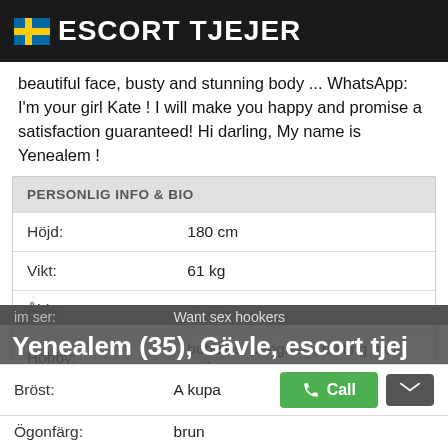ESCORT TJEJER
beautiful face, busty and stunning body ... WhatsApp: I'm your girl Kate ! I will make you happy and promise a satisfaction guaranteed! Hi darling, My name is Yenealem !
| PERSONLIG INFO & BIO |  |
| --- | --- |
| Höjd: | 180 cm |
| Vikt: | 61 kg |
| Ålder: | 35 yrs |
| Hobby: | bubbles, penguins, tasting stuff, evil |
| Nationalitet: | kazakiska |
| im ser: | Want sex hookers |
| Bröst: | A kupa |
| Ögonfärg: | brun |
Yenealem (35), Gävle, escort tjej